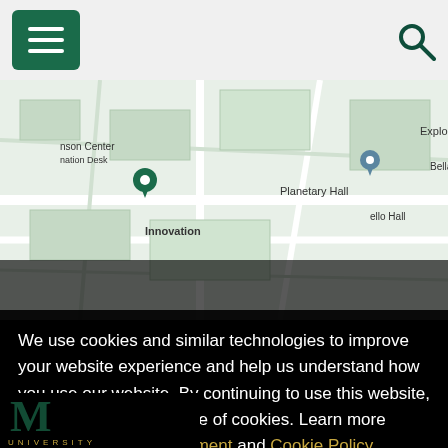[Figure (screenshot): University website header with green hamburger menu button on left and search icon on right, on light gray background]
[Figure (map): Google Maps view of George Mason University campus showing Exploratory Hall, Planetary Hall, Innovation Hall, and Bellarmine area with location pins]
We use cookies and similar technologies to improve your website experience and help us understand how you use our website. By continuing to use this website, you consent to the usage of cookies. Learn more about our Privacy Statement and Cookie Policy.
Agree
Decline Non-Essential Cookies